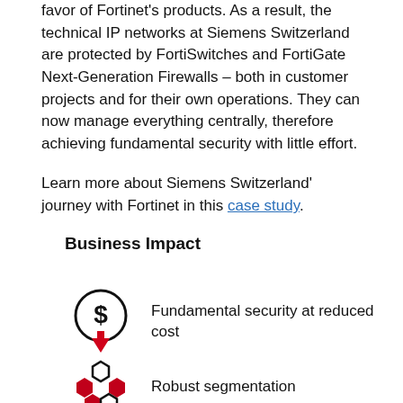favor of Fortinet's products. As a result, the technical IP networks at Siemens Switzerland are protected by FortiSwitches and FortiGate Next-Generation Firewalls – both in customer projects and for their own operations. They can now manage everything centrally, therefore achieving fundamental security with little effort.
Learn more about Siemens Switzerland' journey with Fortinet in this case study.
Business Impact
[Figure (illustration): Dollar sign inside a circle with a red downward arrow below it, indicating cost reduction]
Fundamental security at reduced cost
[Figure (illustration): Hexagonal network/segmentation icon with red hexagons and black outlines]
Robust segmentation